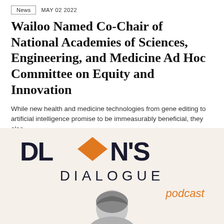News   MAY 02 2022
Wailoo Named Co-Chair of National Academies of Sciences, Engineering, and Medicine Ad Hoc Committee on Equity and Innovation
While new health and medicine technologies from gene editing to artificial intelligence promise to be immeasurably beneficial, they also...
[Figure (logo): Dean's Dialogue podcast logo with orange diamond shape between letters, person photo below]